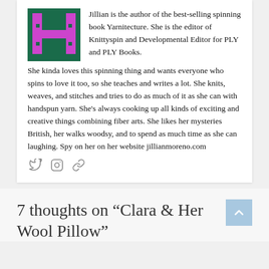[Figure (illustration): Pixel art avatar: magenta/pink H-shaped figure on dark teal/green background]
Jillian is the author of the best-selling spinning book Yarnitecture. She is the editor of Knittyspin and Developmental Editor for PLY and PLY Books. She kinda loves this spinning thing and wants everyone who spins to love it too, so she teaches and writes a lot. She knits, weaves, and stitches and tries to do as much of it as she can with handspun yarn. She's always cooking up all kinds of exciting and creative things combining fiber arts. She likes her mysteries British, her walks woodsy, and to spend as much time as she can laughing. Spy on her on her website jillianmoreno.com
[Figure (infographic): Social media icons: Twitter bird, Instagram camera, chain/link icon]
7 thoughts on “Clara & Her Wool Pillow”